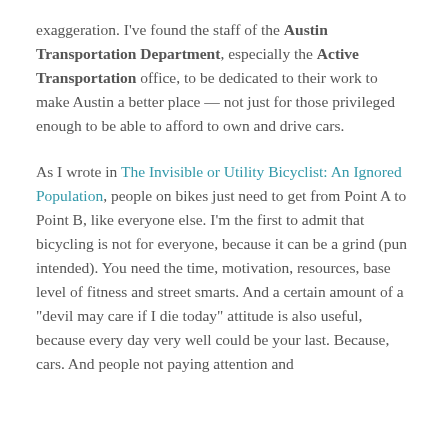exaggeration. I've found the staff of the Austin Transportation Department, especially the Active Transportation office, to be dedicated to their work to make Austin a better place — not just for those privileged enough to be able to afford to own and drive cars.
As I wrote in The Invisible or Utility Bicyclist: An Ignored Population, people on bikes just need to get from Point A to Point B, like everyone else.  I'm the first to admit that bicycling is not for everyone, because it can be a grind (pun intended).  You need the time, motivation, resources, base level of fitness and street smarts.  And a certain amount of a "devil may care if I die today" attitude is also useful, because every day very well could be your last. Because, cars.  And people not paying attention and